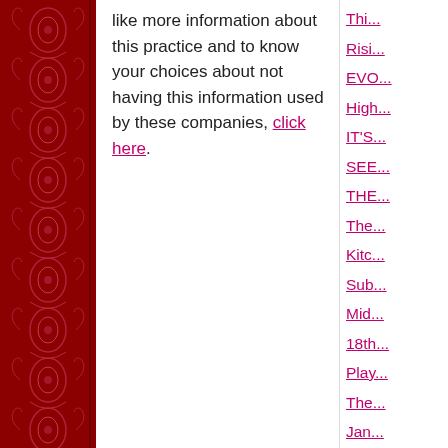[Figure (illustration): Red decorative ornamental pattern on left side border, with intricate floral and scroll designs in dark red/crimson.]
like more information about this practice and to know your choices about not having this information used by these companies, click here.
Thi...
Risi...
EVO...
High...
IT'S...
SEE...
THE...
The...
Kitc...
Sub...
Mid...
18th...
Play...
The...
Jan...
rela...